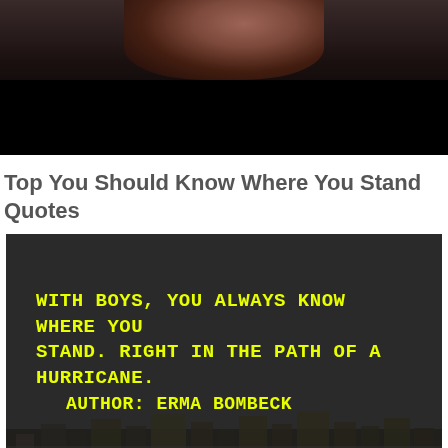[Figure (photo): Dark photo of a person's face/head, partially visible, with dark shadowing and black bar at bottom]
Top You Should Know Where You Stand Quotes
[Figure (photo): Dark background image of a city/palace on water at night with bright yellow text overlay reading: WITH BOYS, YOU ALWAYS KNOW WHERE YOU STAND. RIGHT IN THE PATH OF A HURRICANE. AUTHOR: ERMA BOMBECK]